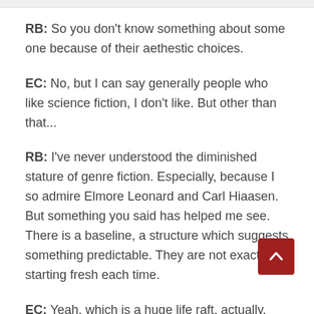RB: So you don't know something about some one because of their aethestic choices.
EC: No, but I can say generally people who like science fiction, I don't like. But other than that...
RB: I've never understood the diminished stature of genre fiction. Especially, because I so admire Elmore Leonard and Carl Hiaasen. But something you said has helped me see. There is a baseline, a structure which suggests something predictable. They are not exactly starting fresh each time.
EC: Yeah, which is a huge life raft, actually. And in some